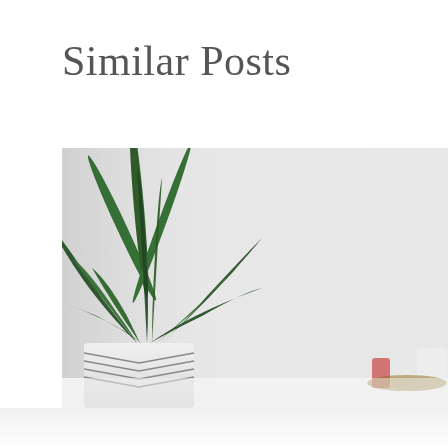Similar Posts
[Figure (photo): A green spiky houseplant (resembling a dracaena or air plant) in a white pot with grey chevron/herringbone pattern, placed on a white surface. To the right background there are small containers/jars on a wooden surface. The background is a plain light grey/white wall. The bottom shows a slight reflection on the glossy surface.]